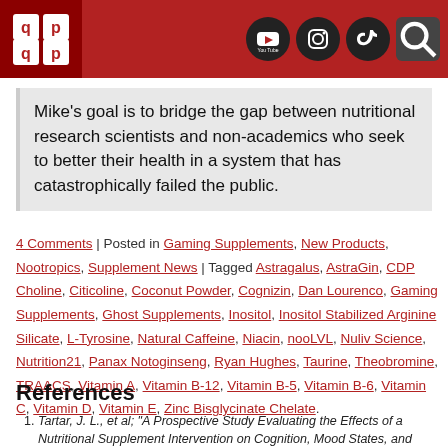Header bar with logo and social media icons (YouTube, Instagram, TikTok, Search)
Mike's goal is to bridge the gap between nutritional research scientists and non-academics who seek to better their health in a system that has catastrophically failed the public.
4 Comments | Posted in Gaming Supplements, New Products, Nootropics, Supplement News | Tagged Astragalus, AstraGin, CDP Choline, Citicoline, Coconut Powder, Cognizin, Dan Lourenco, Gaming Supplements, Ghost Supplements, Inositol, Inositol Stabilized Arginine Silicate, L-Tyrosine, Natural Caffeine, Niacin, nooLVL, Nuliv Science, Nutrition21, Panax Notoginseng, Ryan Hughes, Taurine, Theobromine, TRAACS, Vitamin A, Vitamin B-12, Vitamin B-5, Vitamin B-6, Vitamin C, Vitamin D, Vitamin E, Zinc Bisglycinate Chelate.
References
Tartar, J. L., et al; "A Prospective Study Evaluating the Effects of a Nutritional Supplement Intervention on Cognition, Mood States, and Mental Performance in Video Gamers."; Nutrients – MDPI Open Access Journals; 11, 2326; Oct. 1, 2019; https://www.mdpi.com/2072-6643/11/10/2326/htm
Michell, R H; "Inositol Phospholipids and Cell Surface Receptor Function."; Biochimica Et Biophysica Acta; U.S. National Library of Medicine; 25 Mar.